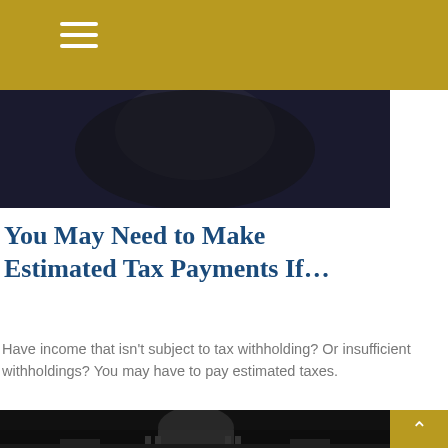[Figure (photo): Dark blurred photo at top of page under golden navigation bar, showing a dark background suggesting a professional/office setting]
You May Need to Make Estimated Tax Payments If…
Have income that isn't subject to tax withholding? Or insufficient withholdings? You may have to pay estimated taxes.
[Figure (photo): Black and white nighttime photograph of the United States Capitol building dome illuminated against a dark sky]